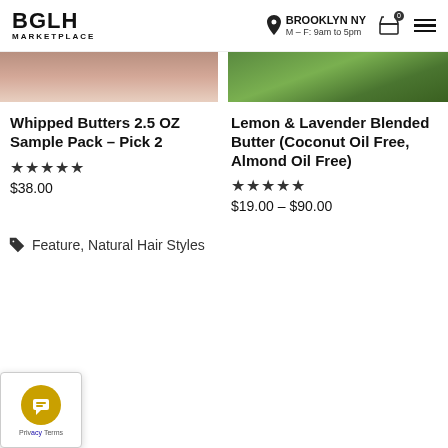BGLH MARKETPLACE — BROOKLYN NY M-F: 9am to 5pm
[Figure (photo): Partial view of two product images at top: left shows whipped butters in pinkish/cream tones, right shows green coconut/lemon leaves]
Whipped Butters 2.5 OZ Sample Pack – Pick 2
★★★★★
$38.00
Lemon & Lavender Blended Butter (Coconut Oil Free, Almond Oil Free)
★★★★★
$19.00 – $90.00
Feature, Natural Hair Styles
[Figure (other): Chat widget with golden circular icon and Privacy/Terms links]